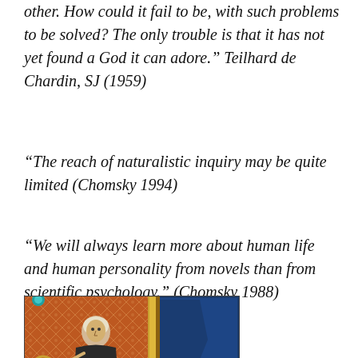other. How could it fail to be, with such problems to be solved? The only trouble is that it has not yet found a God it can adore.” Teilhard de Chardin, SJ (1959)
“The reach of naturalistic inquiry may be quite limited (Chomsky 1994)
“We will always learn more about human life and human personality from novels than from scientific psychology.” (Chomsky 1988)
[Figure (illustration): Medieval illuminated manuscript illustration showing a robed figure (monk or scholar) with a decorated initial letter border, featuring orange/red patterned background and blue decorative elements]